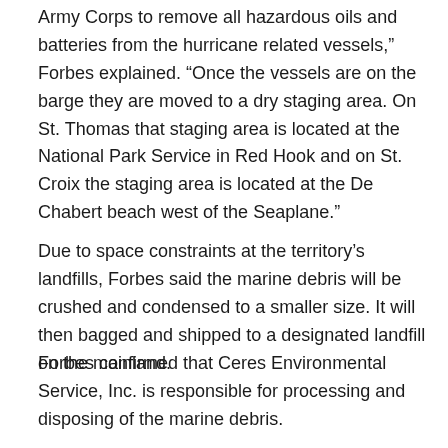Army Corps to remove all hazardous oils and batteries from the hurricane related vessels,” Forbes explained. “Once the vessels are on the barge they are moved to a dry staging area. On St. Thomas that staging area is located at the National Park Service in Red Hook and on St. Croix the staging area is located at the De Chabert beach west of the Seaplane.”
Due to space constraints at the territory’s landfills, Forbes said the marine debris will be crushed and condensed to a smaller size. It will then bagged and shipped to a designated landfill on the mainland.
Forbes confirmed that Ceres Environmental Service, Inc. is responsible for processing and disposing of the marine debris.